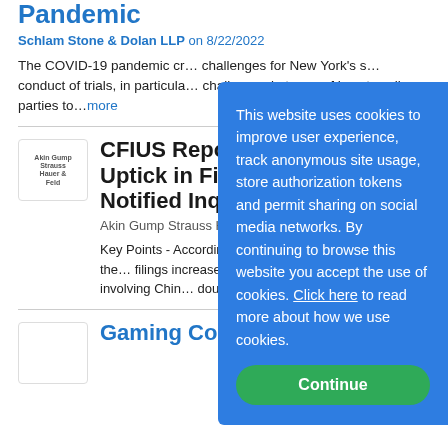Pandemic
Schlam Stone & Dolan LLP on 8/22/2022
The COVID-19 pandemic cr... challenges for New York's s... conduct of trials, in particula... challenges in terms of how t... allow parties to...more
CFIUS Reports S... Uptick in Filings... Notified Inquirie...
Akin Gump Strauss Hauer &...
Key Points - According to C... Annual Report for 2021, the... filings increased significantl... transactions involving Chin... doubling compared...more
This website uses cookies to improve user experience, track anonymous site usage, store authorization tokens and permit sharing on social media networks. By continuing to browse this website you accept the use of cookies. Click here to read more about how we use cookies.
Gaming Commission Relea...